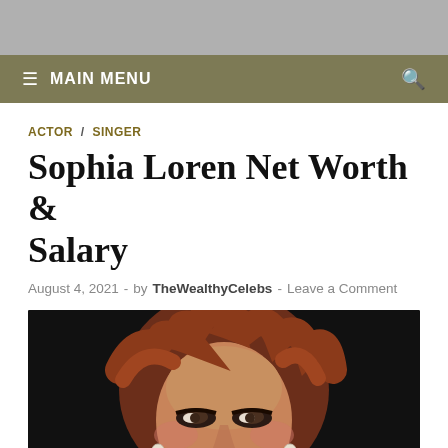≡ MAIN MENU
ACTOR / SINGER
Sophia Loren Net Worth & Salary
August 4, 2021 - by TheWealthyCelebs - Leave a Comment
[Figure (photo): Portrait photo of Sophia Loren smiling, with curly auburn hair and pearl earrings, against a dark background.]